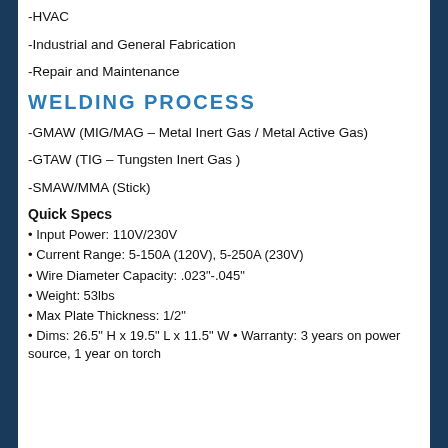-HVAC
-Industrial and General Fabrication
-Repair and Maintenance
WELDING PROCESS
-GMAW (MIG/MAG – Metal Inert Gas / Metal Active Gas)
-GTAW (TIG – Tungsten Inert Gas )
-SMAW/MMA (Stick)
Quick Specs
• Input Power: 110V/230V
• Current Range: 5-150A (120V), 5-250A (230V)
• Wire Diameter Capacity: .023"-.045"
• Weight: 53lbs
• Max Plate Thickness: 1/2"
• Dims: 26.5" H x 19.5" L x 11.5" W • Warranty: 3 years on power source, 1 year on torch